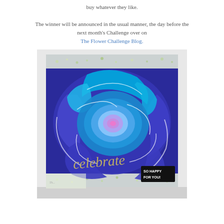buy whatever they like.

The winner will be announced in the usual manner, the day before the next month's Challenge over on The Flower Challenge Blog.
[Figure (photo): A handmade greeting card featuring a large blue and purple rose painting with white outlines. The card has 'celebrate' written in silver script lettering and a small dark tag reading 'SO HAPPY FOR YOU!' in the bottom right corner. The card has a white floral patterned border and is propped up against a white background.]